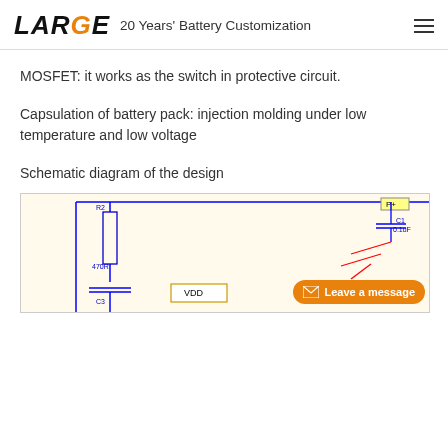LARGE — 20 Years' Battery Customization
MOSFET: it works as the switch in protective circuit.
Capsulation of battery pack: injection molding under low temperature and low voltage
Schematic diagram of the design
[Figure (schematic): Partial schematic diagram showing R2 470R resistor, C3 capacitor, C1 0.1uF capacitor, VDD label, and P+ terminal on a yellow background with blue and red circuit lines]